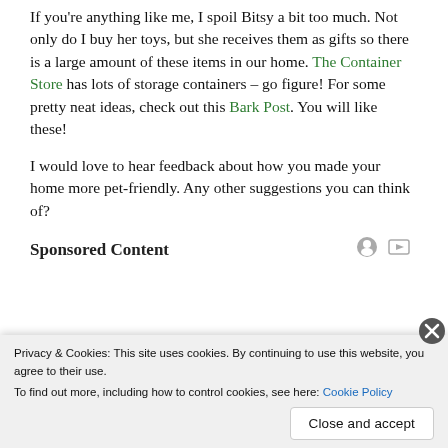If you're anything like me, I spoil Bitsy a bit too much. Not only do I buy her toys, but she receives them as gifts so there is a large amount of these items in our home. The Container Store has lots of storage containers – go figure! For some pretty neat ideas, check out this Bark Post. You will like these!
I would love to hear feedback about how you made your home more pet-friendly. Any other suggestions you can think of?
Sponsored Content
Privacy & Cookies: This site uses cookies. By continuing to use this website, you agree to their use.
To find out more, including how to control cookies, see here: Cookie Policy